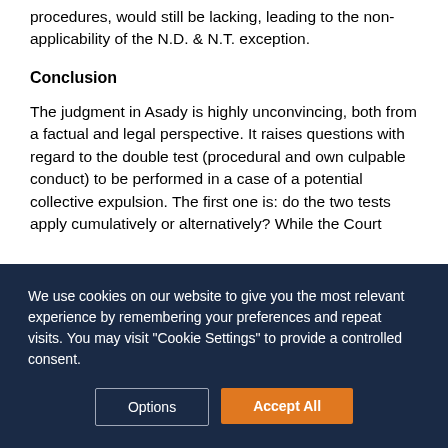procedures, would still be lacking, leading to the non-applicability of the N.D. & N.T. exception.
Conclusion
The judgment in Asady is highly unconvincing, both from a factual and legal perspective. It raises questions with regard to the double test (procedural and own culpable conduct) to be performed in a case of a potential collective expulsion. The first one is: do the two tests apply cumulatively or alternatively? While the Court
We use cookies on our website to give you the most relevant experience by remembering your preferences and repeat visits. You may visit "Cookie Settings" to provide a controlled consent.
Options
Accept All